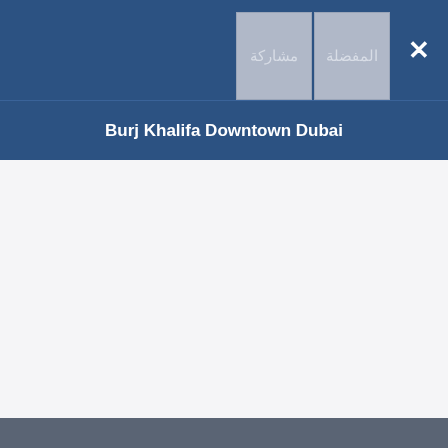مشاركة | المفضلة | ×
Burj Khalifa Downtown Dubai
[Figure (screenshot): Empty content area with light gray background]